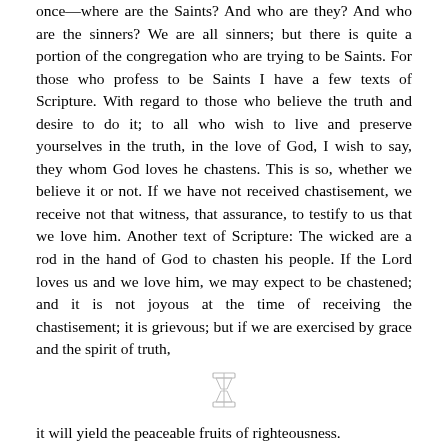once—where are the Saints? And who are they? And who are the sinners? We are all sinners; but there is quite a portion of the congregation who are trying to be Saints. For those who profess to be Saints I have a few texts of Scripture. With regard to those who believe the truth and desire to do it; to all who wish to live and preserve yourselves in the truth, in the love of God, I wish to say, they whom God loves he chastens. This is so, whether we believe it or not. If we have not received chastisement, we receive not that witness, that assurance, to testify to us that we love him. Another text of Scripture: The wicked are a rod in the hand of God to chasten his people. If the Lord loves us and we love him, we may expect to be chastened; and it is not joyous at the time of receiving the chastisement; it is grievous; but if we are exercised by grace and the spirit of truth,
[Figure (other): Decorative divider ornament]
it will yield the peaceable fruits of righteousness.
I wish to whisper in the ears of the Latter-day Saints, I mean those who profess to be Saints, Know ye that the Lord reigns, and that the hearts of all living are in his hands. He turns the hearts of the children of men as the rivers of waters are